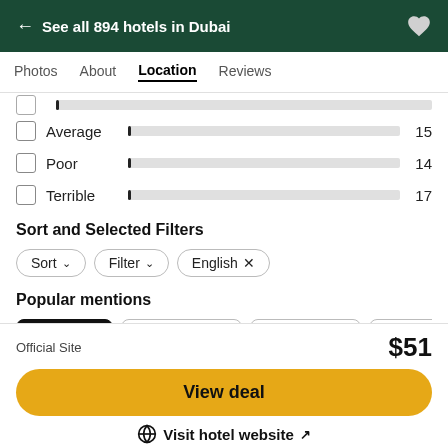← See all 894 hotels in Dubai
Photos   About   Location   Reviews
Average   15
Poor   14
Terrible   17
Sort and Selected Filters
Sort ▾   Filter ▾   English ×
Popular mentions
All reviews   house keeping   metro station   mr mani   nice per
Official Site   $51
View deal
⊕ Visit hotel website ↗